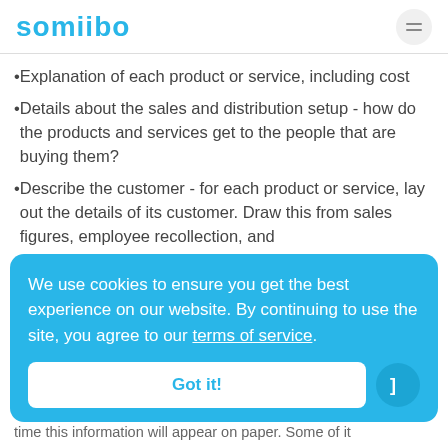somiibo
Explanation of each product or service, including cost
Details about the sales and distribution setup - how do the products and services get to the people that are buying them?
Describe the customer - for each product or service, lay out the details of its customer. Draw this from sales figures, employee recollection, and ...
time this information will appear on paper. Some of it
We use cookies to ensure you get the best experience on our website. By continuing to use the site, you agree to our terms of service. Got it!